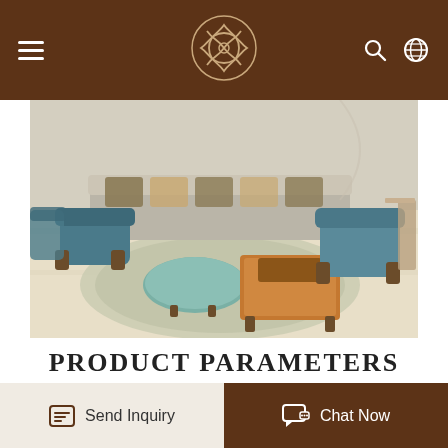Navigation bar with hamburger menu, YABO logo, search and language icons
[Figure (photo): Luxury furniture showroom display featuring a teal/velvet armchair, round light blue ottoman, orange square coffee table, long sofa with patterned pillows, and side tables on a decorative rug]
PRODUCT PARAMETERS
YABO
| Wood |  |
| --- | --- |
| Wood | beech |
Send Inquiry   Chat Now